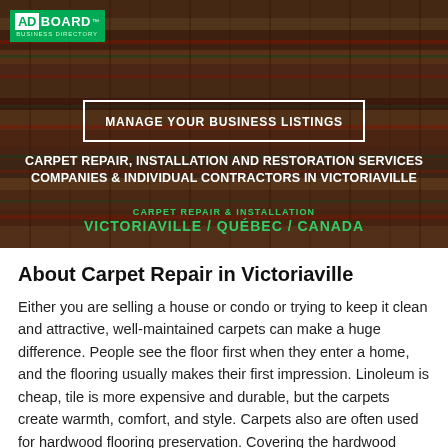[Figure (photo): Hero banner with close-up texture of a colorful woven carpet/rug in red, green, brown tones serving as background for text overlays]
ADBOARD™ — business listings platform logo
MANAGE YOUR BUSINESS LISTINGS
CARPET REPAIR, INSTALLATION AND RESTORATION SERVICES COMPANIES & INDIVIDUAL CONTRACTORS IN VICTORIAVILLE
CARPET REPAIR & INSTALLATION
VICTORIAVILLE / QUÉBEC / CANADA
About Carpet Repair in Victoriaville
Either you are selling a house or condo or trying to keep it clean and attractive, well-maintained carpets can make a huge difference. People see the floor first when they enter a home, and the flooring usually makes their first impression. Linoleum is cheap, tile is more expensive and durable, but the carpets create warmth, comfort, and style. Carpets also are often used for hardwood flooring preservation. Covering the hardwood